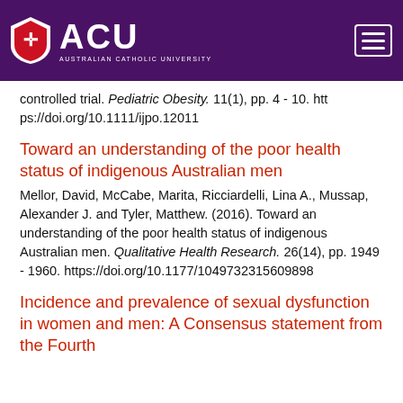[Figure (logo): ACU Australian Catholic University header logo on purple background with hamburger menu icon]
controlled trial. Pediatric Obesity. 11(1), pp. 4 - 10. https://doi.org/10.1111/ijpo.12011
Toward an understanding of the poor health status of indigenous Australian men
Mellor, David, McCabe, Marita, Ricciardelli, Lina A., Mussap, Alexander J. and Tyler, Matthew. (2016). Toward an understanding of the poor health status of indigenous Australian men. Qualitative Health Research. 26(14), pp. 1949 - 1960. https://doi.org/10.1177/1049732315609898
Incidence and prevalence of sexual dysfunction in women and men: A Consensus statement from the Fourth